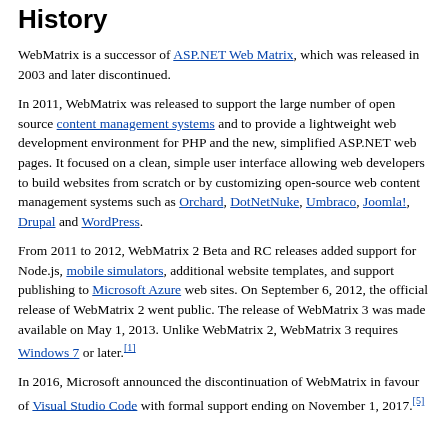History
WebMatrix is a successor of ASP.NET Web Matrix, which was released in 2003 and later discontinued.
In 2011, WebMatrix was released to support the large number of open source content management systems and to provide a lightweight web development environment for PHP and the new, simplified ASP.NET web pages. It focused on a clean, simple user interface allowing web developers to build websites from scratch or by customizing open-source web content management systems such as Orchard, DotNetNuke, Umbraco, Joomla!, Drupal and WordPress.
From 2011 to 2012, WebMatrix 2 Beta and RC releases added support for Node.js, mobile simulators, additional website templates, and support publishing to Microsoft Azure web sites. On September 6, 2012, the official release of WebMatrix 2 went public. The release of WebMatrix 3 was made available on May 1, 2013. Unlike WebMatrix 2, WebMatrix 3 requires Windows 7 or later.[1]
In 2016, Microsoft announced the discontinuation of WebMatrix in favour of Visual Studio Code with formal support ending on November 1, 2017.[5]